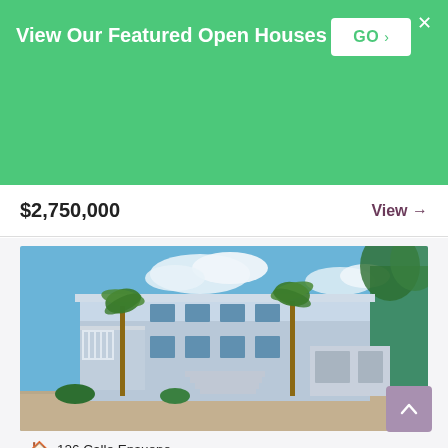View Our Featured Open Houses
GO >
$2,750,000
View →
[Figure (photo): Exterior photo of a large two-story Florida Keys waterfront home with white railings, palm trees, blue sky with clouds, and a circular driveway with a garage.]
126 Calle Ensueno
MARATHON, Florida
8,302 sq ft | 7 Bed | 7 Bath